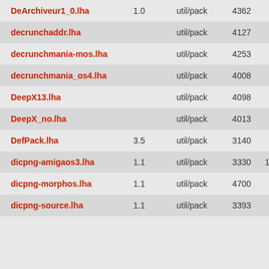| Name | Version | Category | ID | Size |
| --- | --- | --- | --- | --- |
| DeArchiveur1_0.lha | 1.0 | util/pack | 4362 | 88K |
| decrunchaddr.lha |  | util/pack | 4127 | 21K |
| decrunchmania-mos.lha |  | util/pack | 4253 | 10K |
| decrunchmania_os4.lha |  | util/pack | 4008 | 15K |
| DeepX13.lha |  | util/pack | 4098 | 41K |
| DeepX_no.lha |  | util/pack | 4013 | 4K |
| DefPack.lha | 3.5 | util/pack | 3140 | 7K |
| dicpng-amigaos3.lha | 1.1 | util/pack | 3330 | 110K |
| dicpng-morphos.lha | 1.1 | util/pack | 4700 | 59K |
| dicpng-source.lha | 1.1 | util/pack | 3393 | 27K |